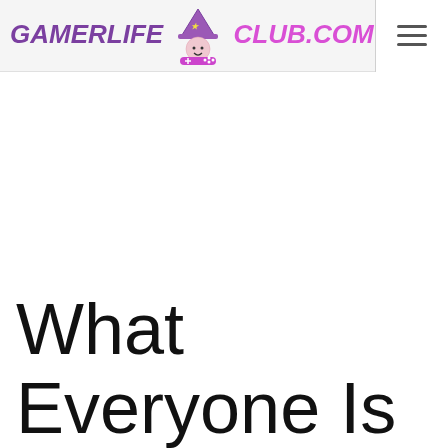GAMERLIFE CLUB.COM
What Everyone Is